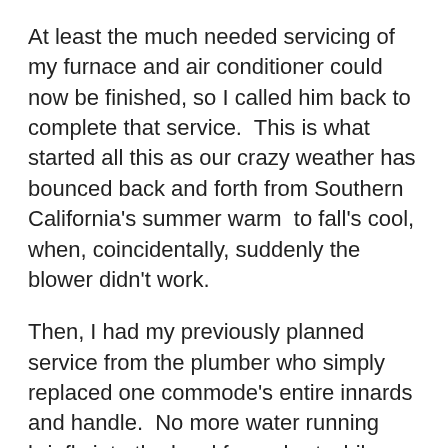At least the much needed servicing of my furnace and air conditioner could now be finished, so I called him back to complete that service.  This is what started all this as our crazy weather has bounced back and forth from Southern California's summer warm  to fall's cool, when, coincidentally, suddenly the blower didn't work.
Then, I had my previously planned service from the plumber who simply replaced one commode's entire innards and handle.  No more water running briefly into the bowl for a short while after each flushing due to slow leakage from the tank.
No need to replace the whole commode contrary to what a handyman said who'd put in a new part of the unit's “guts” last spring, but offering only I needed a new commode for this latest issue which he likely was prepared to install.   I may not use